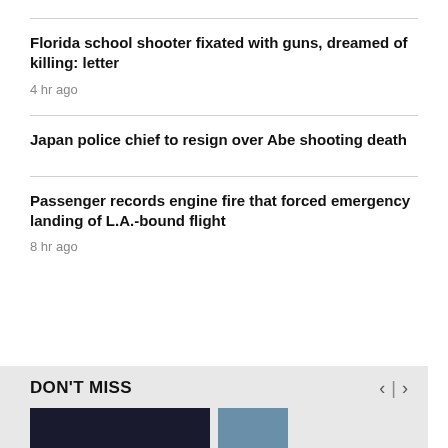Florida school shooter fixated with guns, dreamed of killing: letter
4 hr ago
Japan police chief to resign over Abe shooting death
Passenger records engine fire that forced emergency landing of L.A.-bound flight
8 hr ago
DON'T MISS